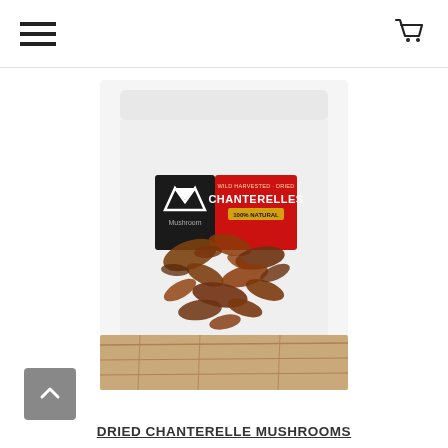Navigation menu and cart icon
[Figure (photo): Product photo of a transparent resealable pouch of dried chanterelle mushrooms with a black and red label reading 'CHANTERELLES', containing visible dried brown mushroom pieces, placed on a wooden surface.]
DRIED CHANTERELLE MUSHROOMS